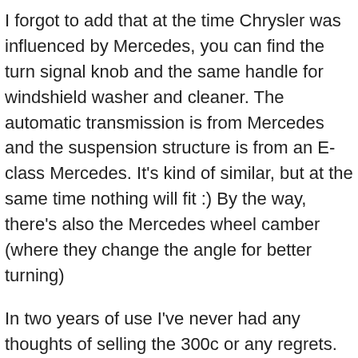I forgot to add that at the time Chrysler was influenced by Mercedes, you can find the turn signal knob and the same handle for windshield washer and cleaner. The automatic transmission is from Mercedes and the suspension structure is from an E-class Mercedes. It's kind of similar, but at the same time nothing will fit :) By the way, there's also the Mercedes wheel camber (where they change the angle for better turning)
In two years of use I've never had any thoughts of selling the 300c or any regrets. In the city in summer it consumes 15.5 - 18.5 liters, highway 11-12.5 liters. The Hemi 5.7 engines had an MDS